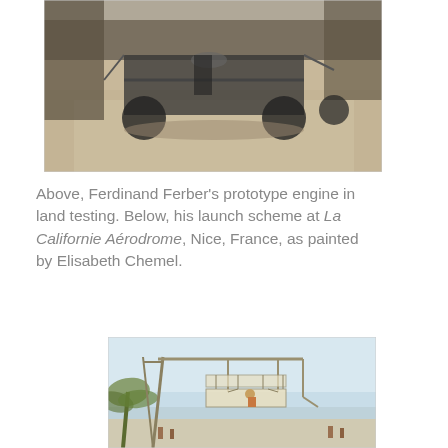[Figure (photo): Black and white photograph of Ferdinand Ferber's prototype engine during land testing, showing a wheeled vehicle on a path with trees in the background.]
Above, Ferdinand Ferber's prototype engine in land testing. Below, his launch scheme at La Californie Aérodrome, Nice, France, as painted by Elisabeth Chemel.
[Figure (illustration): Color painting by Elisabeth Chemel showing Ferdinand Ferber's launch scheme at La Californie Aérodrome in Nice, France. A large launch frame/catapult structure is visible with a biplane-style aircraft suspended beneath it, palm trees in the foreground and a coastal backdrop.]